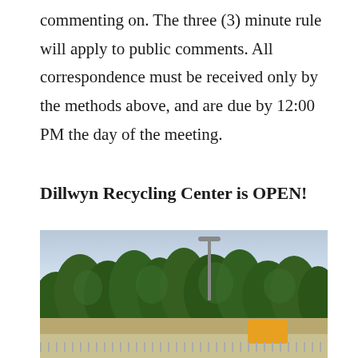commenting on. The three (3) minute rule will apply to public comments. All correspondence must be received only by the methods above, and are due by 12:00 PM the day of the meeting.
Dillwyn Recycling Center is OPEN!
[Figure (photo): Outdoor photo of the Dillwyn Recycling Center showing a parking lot area with a row of tall green trees in the background, a light pole in the center, a yellow piece of construction equipment at the lower right, and a gray cloudy sky above.]